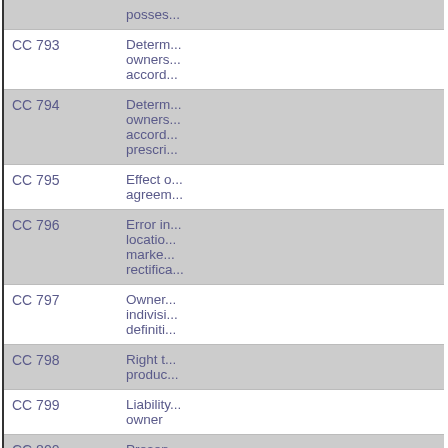| Code | Description |
| --- | --- |
|  | posses... |
| CC 793 | Determ... owners... accord... |
| CC 794 | Determ... owners... accord... prescri... |
| CC 795 | Effect o... agreem... |
| CC 796 | Error in... locatio... marke... rectifica... |
| CC 797 | Owner... indivisi... definiti... |
| CC 798 | Right t... produc... |
| CC 799 | Liability... owner |
| CC 800 | Presen... the thi... |
| CC 801 | Use an... manag... |